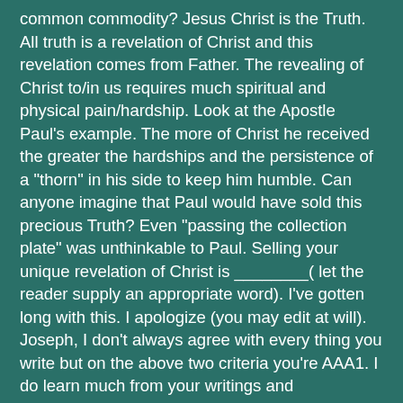common commodity? Jesus Christ is the Truth. All truth is a revelation of Christ and this revelation comes from Father. The revealing of Christ to/in us requires much spiritual and physical pain/hardship. Look at the Apostle Paul's example. The more of Christ he received the greater the hardships and the persistence of a "thorn" in his side to keep him humble. Can anyone imagine that Paul would have sold this precious Truth? Even "passing the collection plate" was unthinkable to Paul. Selling your unique revelation of Christ is ________( let the reader supply an appropriate word). I've gotten long with this. I apologize (you may edit at will). Joseph, I don't always agree with every thing you write but on the above two criteria you're AAA1. I do learn much from your writings and